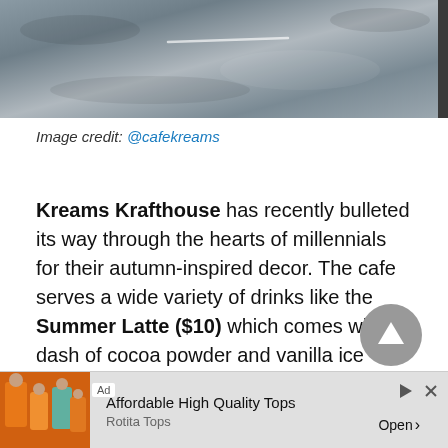[Figure (photo): Top portion of a photo showing a textured dark/grey surface, possibly a cafe table or floor, with a white scratch mark visible]
Image credit: @cafekreams
Kreams Krafthouse has recently bulleted its way through the hearts of millennials for their autumn-inspired decor. The cafe serves a wide variety of drinks like the Summer Latte ($10) which comes with a dash of cocoa powder and vanilla ice cream – and desserts including their unique Dalgona scones ($4) which are coffee-flavoured.
[Figure (other): Grey circular scroll-to-top button with upward arrow]
[Figure (other): Advertisement banner: Affordable High Quality Tops, Rotita Tops, with orange clothing image]